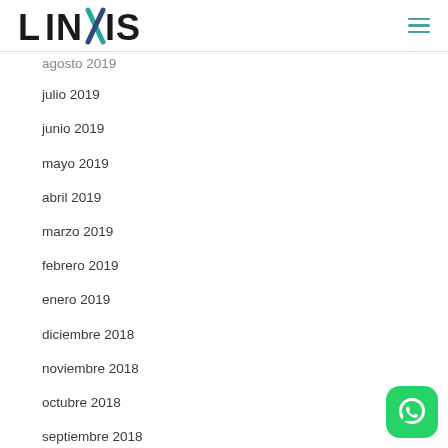LINXIS
agosto 2019
julio 2019
junio 2019
mayo 2019
abril 2019
marzo 2019
febrero 2019
enero 2019
diciembre 2018
noviembre 2018
octubre 2018
septiembre 2018
agosto 2018
abril 2018